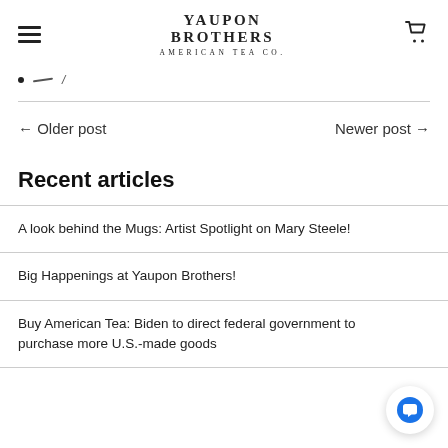YAUPON BROTHERS AMERICAN TEA CO.
• — /
← Older post    Newer post →
Recent articles
A look behind the Mugs: Artist Spotlight on Mary Steele!
Big Happenings at Yaupon Brothers!
Buy American Tea: Biden to direct federal government to purchase more U.S.-made goods